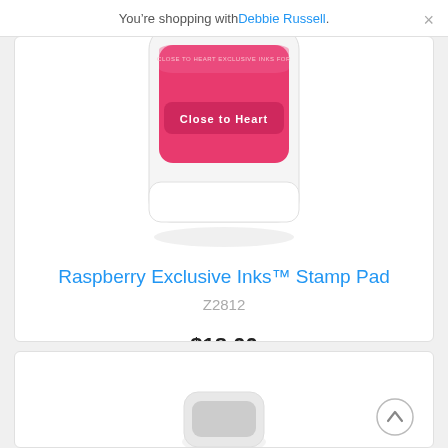You’re shopping with Debbie Russell.
[Figure (photo): Raspberry colored ink stamp pad with Close to Heart logo, partially visible at top]
Raspberry Exclusive Inks™ Stamp Pad
Z2812
$18.00
Add to Cart
[Figure (photo): Bottom of another product card partially visible]